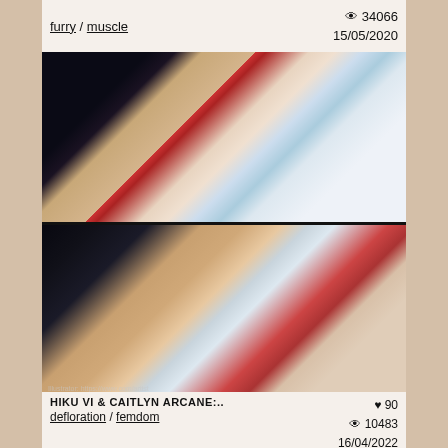furry / muscle  👁 34066  15/05/2020
[Figure (illustration): Two-panel anime illustration: top panel shows a red-haired female character in a shower scene against marble walls; bottom panel shows a close-up of two characters, one with black hair and one with red hair, in an intimate scene.]
HIKU VI & CAITLYN ARCANE:..  ♥ 90  defloration / femdom  👁 10483  16/04/2022